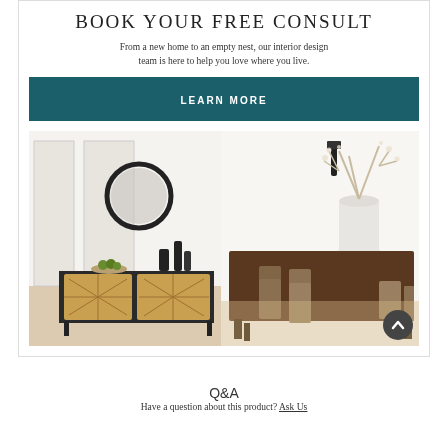BOOK YOUR FREE CONSULT
From a new home to an empty nest, our interior design team is here to help you love where you live.
LEARN MORE
[Figure (photo): Interior design photo collage: left side shows a sideboard with a round black mirror and dark vases on a light wood floor; right side shows a dining table with chairs and a white vase with branches.]
Q&A
Have a question about this product? Ask Us